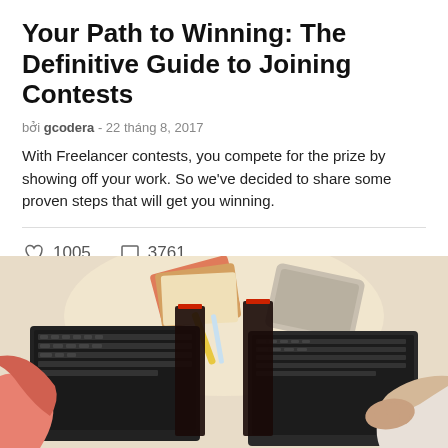Your Path to Winning: The Definitive Guide to Joining Contests
bởi gcodera - 22 tháng 8, 2017
With Freelancer contests, you compete for the prize by showing off your work. So we've decided to share some proven steps that will get you winning.
♡ 1005   ◯ 3761
[Figure (photo): Overhead view of two people working on laptops at a desk with notebooks, tablets, and pens scattered around. Left person wearing pink, right person wearing white.]